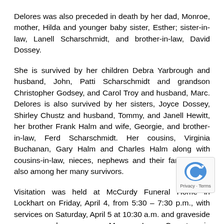Delores was also preceded in death by her dad, Monroe, mother, Hilda and younger baby sister, Esther; sister-in-law, Lanell Scharschmidt, and brother-in-law, David Dossey.
She is survived by her children Debra Yarbrough and husband, John, Patti Scharschmidt and grandson Christopher Godsey, and Carol Troy and husband, Marc. Delores is also survived by her sisters, Joyce Dossey, Shirley Chustz and husband, Tommy, and Janell Hewitt, her brother Frank Halm and wife, Georgie, and brother-in-law, Ferd Scharschmidt. Her cousins, Virginia Buchanan, Gary Halm and Charles Halm along with cousins-in-law, nieces, nephews and their families are also among her many survivors.
Visitation was held at McCurdy Funeral Home in Lockhart on Friday, April 4, from 5:30 – 7:30 p.m., with services on Saturday, April 5 at 10:30 a.m. and graveside prayers and rea... Memory Lawn Cemetery in Martindale with Rev. Rick W... officiating. Pallbearers and honorary pallbearers were Bra...